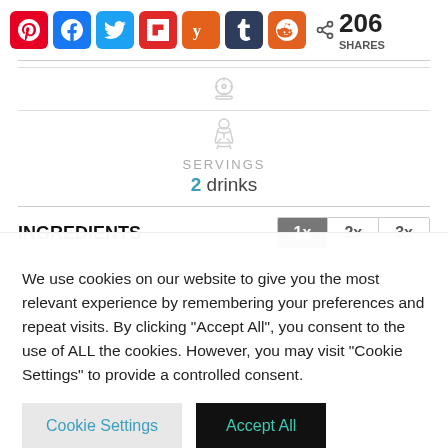[Figure (infographic): Social media share buttons: Pinterest, Facebook, Twitter, Flipboard, Yummly, Tumblr, Reddit, and a share count showing 206 SHARES]
[Figure (infographic): Recipe info panel with two icons (timer/serving icons) and SERVINGS label showing 2 drinks]
INGREDIENTS
We use cookies on our website to give you the most relevant experience by remembering your preferences and repeat visits. By clicking "Accept All", you consent to the use of ALL the cookies. However, you may visit "Cookie Settings" to provide a controlled consent.
Cookie Settings | Accept All